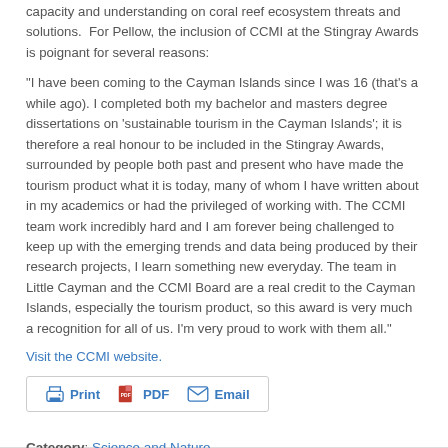capacity and understanding on coral reef ecosystem threats and solutions.  For Pellow, the inclusion of CCMI at the Stingray Awards is poignant for several reasons:
“I have been coming to the Cayman Islands since I was 16 (that's a while ago). I completed both my bachelor and masters degree dissertations on ‘sustainable tourism in the Cayman Islands’; it is therefore a real honour to be included in the Stingray Awards, surrounded by people both past and present who have made the tourism product what it is today, many of whom I have written about in my academics or had the privileged of working with. The CCMI team work incredibly hard and I am forever being challenged to keep up with the emerging trends and data being produced by their research projects, I learn something new everyday. The team in Little Cayman and the CCMI Board are a real credit to the Cayman Islands, especially the tourism product, so this award is very much a recognition for all of us. I’m very proud to work with them all.”
Visit the CCMI website.
[Figure (other): Print, PDF, Email toolbar buttons]
Category: Science and Nature